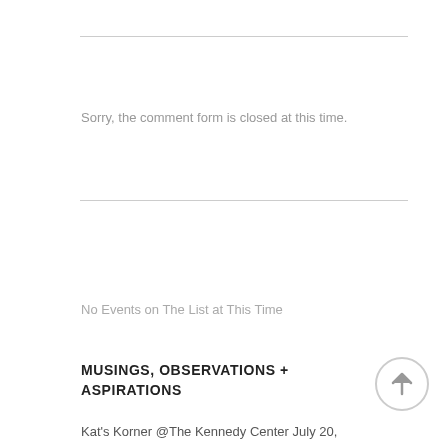Sorry, the comment form is closed at this time.
No Events on The List at This Time
MUSINGS, OBSERVATIONS + ASPIRATIONS
Kat's Korner @The Kennedy Center July 20,